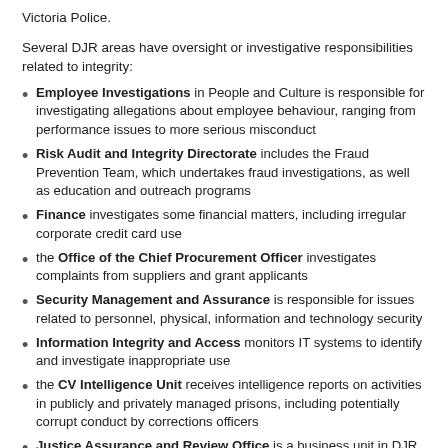Victoria Police.
Several DJR areas have oversight or investigative responsibilities related to integrity:
Employee Investigations in People and Culture is responsible for investigating allegations about employee behaviour, ranging from performance issues to more serious misconduct
Risk Audit and Integrity Directorate includes the Fraud Prevention Team, which undertakes fraud investigations, as well as education and outreach programs
Finance investigates some financial matters, including irregular corporate credit card use
the Office of the Chief Procurement Officer investigates complaints from suppliers and grant applicants
Security Management and Assurance is responsible for issues related to personnel, physical, information and technology security
Information Integrity and Access monitors IT systems to identify and investigate inappropriate use
the CV Intelligence Unit receives intelligence reports on activities in publicly and privately managed prisons, including potentially corrupt conduct by corrections officers
Justice Assurance and Review Office is a business unit in DJR,